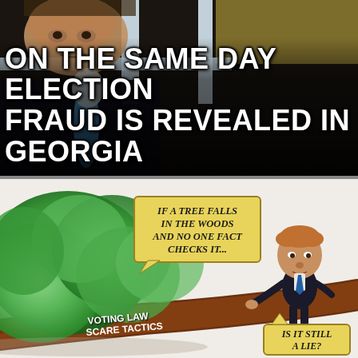[Figure (photo): Photo of a man in a suit with a blue tie, seen through or near window bars, in a dark interior setting]
ON THE SAME DAY ELECTION FRAUD IS REVEALED IN GEORGIA
[Figure (illustration): Political cartoon showing a fallen tree labeled 'VOTING LAW SCARE TACTICS' with speech bubble 'IF A TREE FALLS IN THE WOODS AND NO ONE FACT CHECKS IT...' and a cartoon figure standing on the trunk, with another speech bubble at bottom right reading 'IS IT STILL A LIE?']